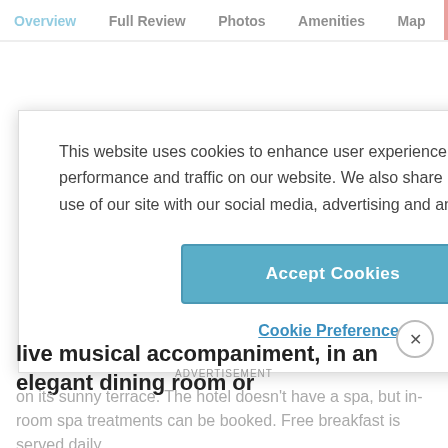Overview  Full Review  Photos  Amenities  Map
This website uses cookies to enhance user experience and to analyze performance and traffic on our website. We also share information about your use of our site with our social media, advertising and analytics partners.
Accept Cookies
Cookie Preferences
live musical accompaniment, in an elegant dining room or
on its sunny terrace. The hotel doesn't have a spa, but in-room spa treatments can be booked. Free breakfast is served daily.
ADVERTISEMENT